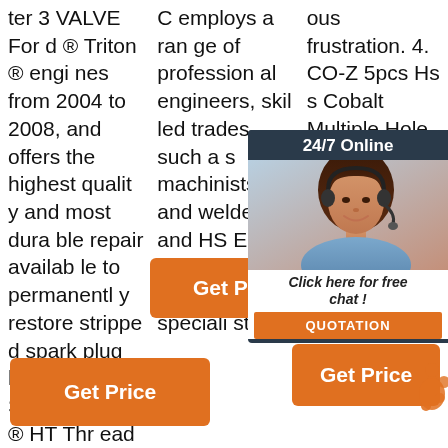ter 3 VALVE Ford ® Triton ® engines from 2004 to 2008, and offers the highest quality and most durable repair available to permanently restore stripped spark plug hole threads.. Sav-A-Thread ® HT Thread Repair ...
C employs a range of professional engineers, skilled trades such as machinists and welders, and HSE, ERP and Programming specialists.
ous frustration. 4. CO-Z 5pcs Hs s Cobalt Multiple Hole Drill Bit Set Rep Bits Bits drill ace l bit ese ep d
[Figure (photo): Customer service chat widget with woman wearing headset, dark teal background, '24/7 Online' text, 'Click here for free chat!' text, and orange QUOTATION button]
Get Price
Get Price
Get Price